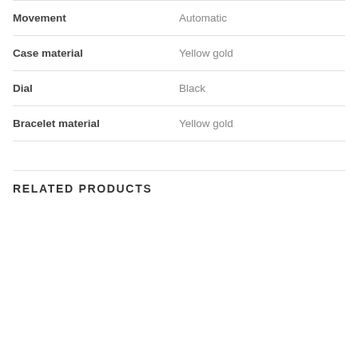| Property | Value |
| --- | --- |
| Movement | Automatic |
| Case material | Yellow gold |
| Dial | Black |
| Bracelet material | Yellow gold |
RELATED PRODUCTS